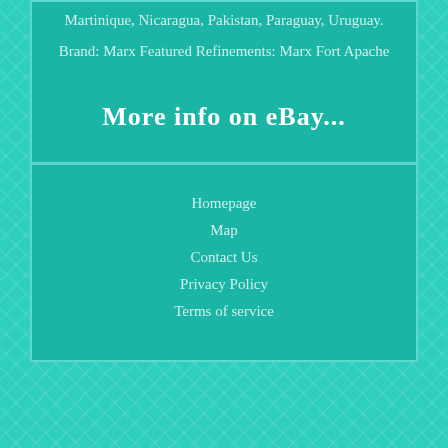Martinique, Nicaragua, Pakistan, Paraguay, Uruguay.
Brand: Marx Featured Refinements: Marx Fort Apache
More info on eBay...
Homepage
Map
Contact Us
Privacy Policy
Terms of service